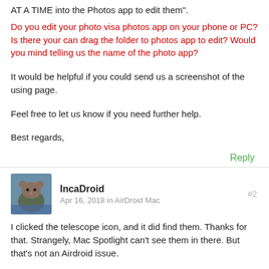AT A TIME into the Photos app to edit them".
Do you edit your photo visa photos app on your phone or PC? Is there your can drag the folder to photos app to edit? Would you mind telling us the name of the photo app?
It would be helpful if you could send us a screenshot of the using page.
Feel free to let us know if you need further help.
Best regards,
Reply
IncaDroid
Apr 16, 2018 in AirDroid Mac
#2
I clicked the telescope icon, and it did find them. Thanks for that. Strangely, Mac Spotlight can't see them in there. But that's not an Airdroid issue.